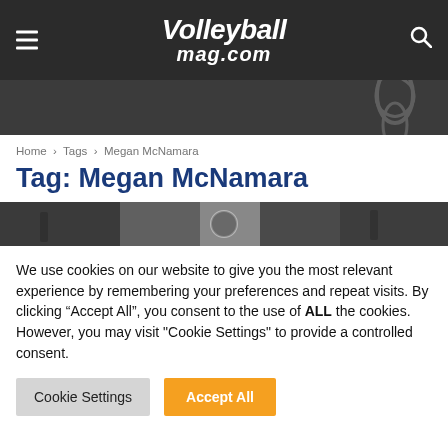VolleyballMag.com
Home › Tags › Megan McNamara
Tag: Megan McNamara
[Figure (photo): Volleyball game action photo strip showing players and a volleyball]
We use cookies on our website to give you the most relevant experience by remembering your preferences and repeat visits. By clicking "Accept All", you consent to the use of ALL the cookies. However, you may visit "Cookie Settings" to provide a controlled consent.